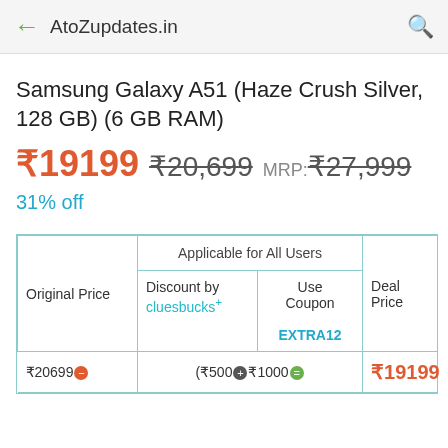AtoZupdates.in
Samsung Galaxy A51 (Haze Crush Silver, 128 GB) (6 GB RAM)
₹19199  ₹20,699  MRP:₹27,999
31% off
| Original Price | Applicable for All Users - Discount by cluesbucks+ | Use Coupon EXTRA12 | Deal Price |
| --- | --- | --- | --- |
| ₹20699 | (₹500+₹1000) | = | ₹19199 |